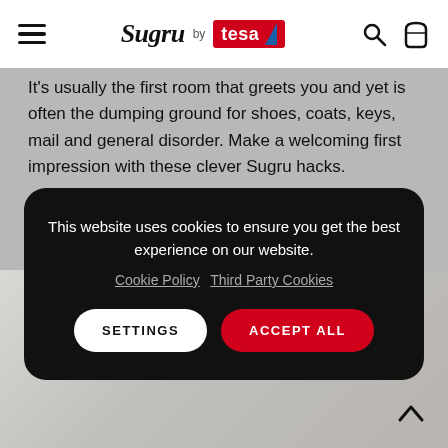Sugru by tesa
It's usually the first room that greets you and yet is often the dumping ground for shoes, coats, keys, mail and general disorder. Make a welcoming first impression with these clever Sugru hacks.
[Figure (screenshot): Cookie consent popup overlay on dark background with 'This website uses cookies to ensure you get the best experience on our website.' text, Cookie Policy and Third Party Cookies links, SETTINGS and ACCEPT ALL buttons]
[Figure (photo): Photo of wall-mounted paper/mail organizers made with Sugru, showing envelopes and papers organized in holders on a white wall]